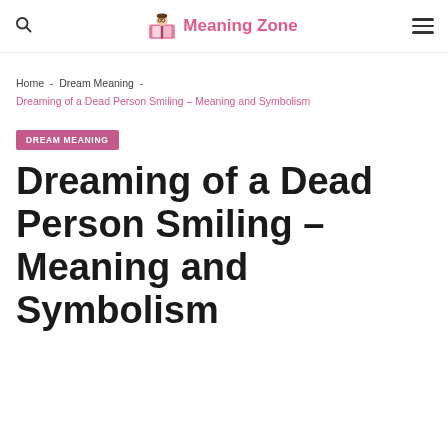Meaning Zone
Home - Dream Meaning - Dreaming of a Dead Person Smiling – Meaning and Symbolism
DREAM MEANING
Dreaming of a Dead Person Smiling – Meaning and Symbolism